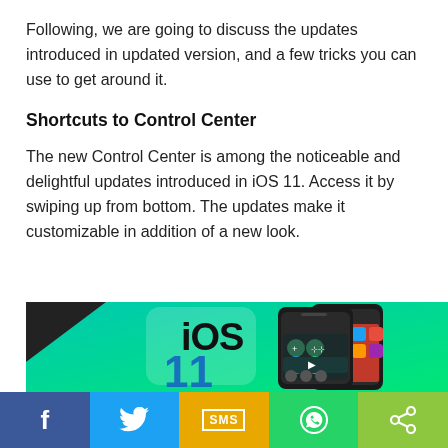Following, we are going to discuss the updates introduced in updated version, and a few tricks you can use to get around it.
Shortcuts to Control Center
The new Control Center is among the noticeable and delightful updates introduced in iOS 11. Access it by swiping up from bottom. The updates make it customizable in addition of a new look.
[Figure (illustration): iOS 11 promotional banner with iOS 11 logo text on a teal/green gradient background on the left, and two iPhone screenshots showing the Control Center interface and app icons on the right.]
Facebook | Twitter | SMS | WhatsApp | Share